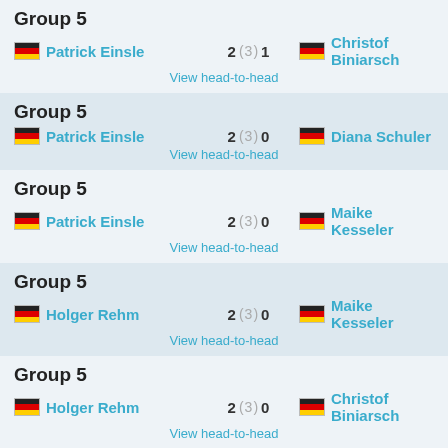Group 5
Patrick Einsle 2 (3) 1 Christof Biniarsch
View head-to-head
Group 5
Patrick Einsle 2 (3) 0 Diana Schuler
View head-to-head
Group 5
Patrick Einsle 2 (3) 0 Maike Kesseler
View head-to-head
Group 5
Holger Rehm 2 (3) 0 Maike Kesseler
View head-to-head
Group 5
Holger Rehm 2 (3) 0 Christof Biniarsch
View head-to-head
Group 5
Diana Schuler 2 (3) 1 Holger Rehm
View head-to-head